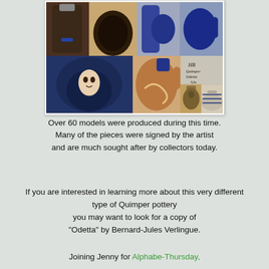[Figure (photo): Collage of multiple ceramic/pottery pieces including jugs, vases and pitchers in blue, brown and earth tones, some with painted faces and decorative patterns. One image shows a maker's mark reading 'HB Quimper'.]
Over 60 models were produced during this time. Many of the pieces were signed by the artist and are much sought after by collectors today.
If you are interested in learning more about this very different type of Quimper pottery you may want to look for a copy of "Odetta" by Bernard-Jules Verlingue.
Joining Jenny for Alphabe-Thursday,